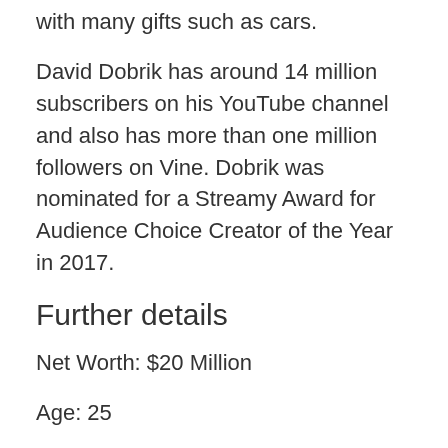with many gifts such as cars.
David Dobrik has around 14 million subscribers on his YouTube channel and also has more than one million followers on Vine. Dobrik was nominated for a Streamy Award for Audience Choice Creator of the Year in 2017.
Further details
Net Worth: $20 Million
Age: 25
DOB: July 22, 1996
Country of Origin: Slovakia